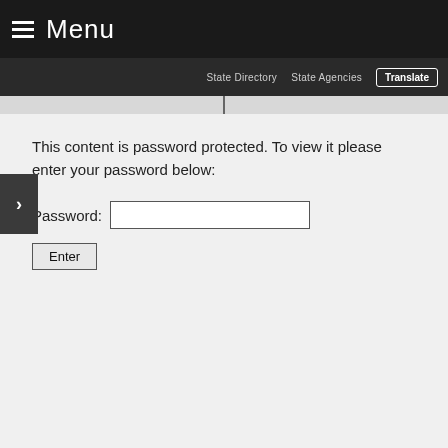≡ Menu
State Directory   State Agencies   Translate
This content is password protected. To view it please enter your password below:
Password: [input field]
Enter